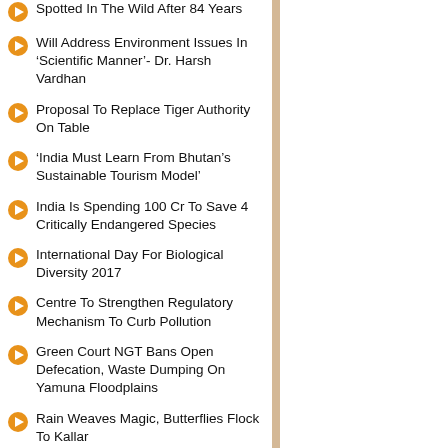Spotted In The Wild After 84 Years
Will Address Environment Issues In ‘Scientific Manner’- Dr. Harsh Vardhan
Proposal To Replace Tiger Authority On Table
‘India Must Learn From Bhutan’s Sustainable Tourism Model’
India Is Spending 100 Cr To Save 4 Critically Endangered Species
International Day For Biological Diversity 2017
Centre To Strengthen Regulatory Mechanism To Curb Pollution
Green Court NGT Bans Open Defecation, Waste Dumping On Yamuna Floodplains
Rain Weaves Magic, Butterflies Flock To Kallar
‘Leopards Abundant In India’s Tea Gardens’
Biodiversity Profile Of Ganga River...